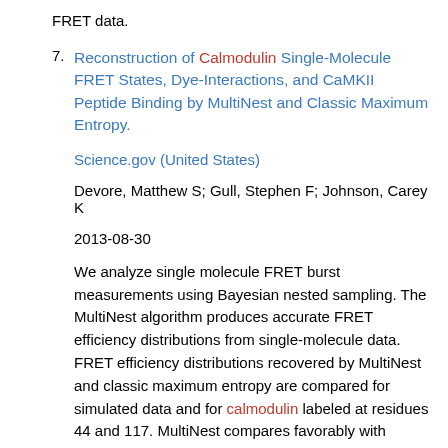FRET data.
7. Reconstruction of Calmodulin Single-Molecule FRET States, Dye-Interactions, and CaMKII Peptide Binding by MultiNest and Classic Maximum Entropy.

Science.gov (United States)

Devore, Matthew S; Gull, Stephen F; Johnson, Carey K

2013-08-30

We analyze single molecule FRET burst measurements using Bayesian nested sampling. The MultiNest algorithm produces accurate FRET efficiency distributions from single-molecule data. FRET efficiency distributions recovered by MultiNest and classic maximum entropy are compared for simulated data and for calmodulin labeled at residues 44 and 117. MultiNest compares favorably with maximum entropy analysis for simulated data, judged by the Bayesian evidence. FRET efficiency distributions recovered for calmodulin labeled with two different FRET dye pairs depended on the dye pair and changed upon Ca 2+ binding. We also looked at the FRET efficiency distributions of calmodulin bound to the